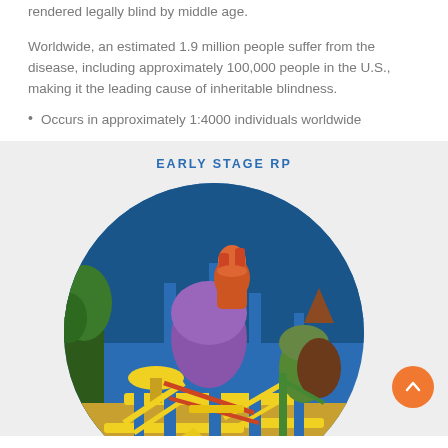rendered legally blind by middle age.
Worldwide, an estimated 1.9 million people suffer from the disease, including approximately 100,000 people in the U.S., making it the leading cause of inheritable blindness.
Occurs in approximately 1:4000 individuals worldwide
EARLY STAGE RP
[Figure (photo): Colorful children's playground equipment photographed from below against a blue sky, shown in a circular crop on a light gray background.]